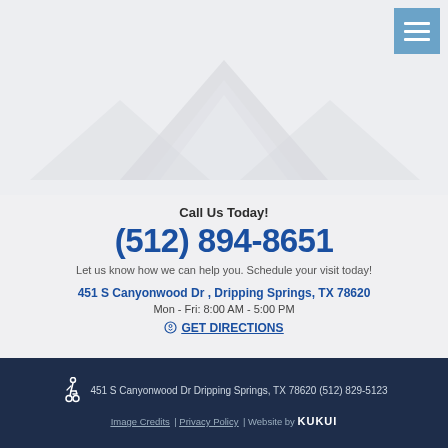[Figure (illustration): House/mountain roof silhouette graphic in light gray tones on a light gray background, forming a triangular roof shape]
Call Us Today!
(512) 894-8651
Let us know how we can help you. Schedule your visit today!
451 S Canyonwood Dr , Dripping Springs, TX 78620
Mon - Fri: 8:00 AM - 5:00 PM
GET DIRECTIONS
451 S Canyonwood Dr Dripping Springs, TX 78620 (512) 829-5123 | Image Credits | Privacy Policy | Website by KUKUI